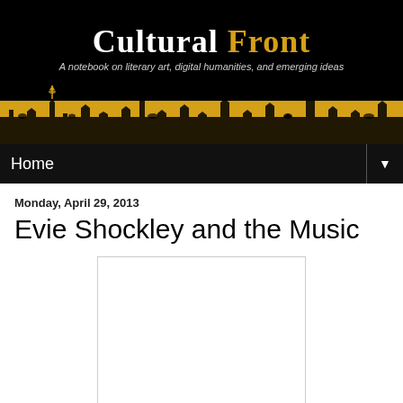[Figure (illustration): Cultural Front blog header banner: black background with the site title 'Cultural Front' in large serif font (white and gold), tagline 'A notebook on literary art, digital humanities, and emerging ideas' in italic, and a golden cityscape silhouette strip at the bottom with crowd and city figures.]
Home
Monday, April 29, 2013
Evie Shockley and the Music
[Figure (other): Embedded video player area, blank white rectangle with border.]